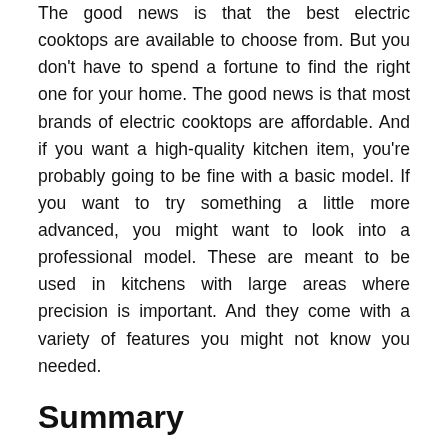The good news is that the best electric cooktops are available to choose from. But you don't have to spend a fortune to find the right one for your home. The good news is that most brands of electric cooktops are affordable. And if you want a high-quality kitchen item, you're probably going to be fine with a basic model. If you want to try something a little more advanced, you might want to look into a professional model. These are meant to be used in kitchens with large areas where precision is important. And they come with a variety of features you might not know you needed.
Summary
Choosing the right electric cooktop is crucial for any home. The kiln-dried method is not the best for your home because it doesn't have enough surface area for all the fireplaces, stovetops, and other appliances. One of the